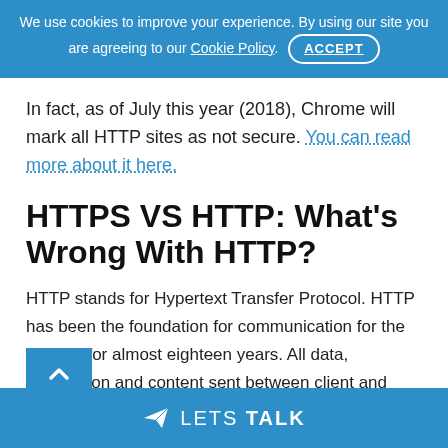We use cookies to improve your experience. By using our site you are agreeing to our Cookie Policy. ACCEPT
In fact, as of July this year (2018), Chrome will mark all HTTP sites as not secure. You can read more about it here.
HTTPS VS HTTP: What's Wrong With HTTP?
HTTP stands for Hypertext Transfer Protocol. HTTP has been the foundation for communication for the internet for almost eighteen years. All data, information and content sent between client and server has been sent through HTTP.
LETS TALK